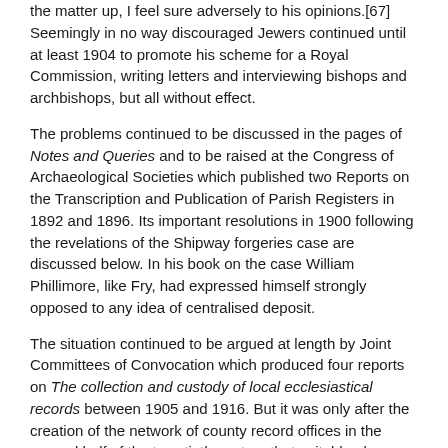the matter up, I feel sure adversely to his opinions.[67] Seemingly in no way discouraged Jewers continued until at least 1904 to promote his scheme for a Royal Commission, writing letters and interviewing bishops and archbishops, but all without effect.
The problems continued to be discussed in the pages of Notes and Queries and to be raised at the Congress of Archaeological Societies which published two Reports on the Transcription and Publication of Parish Registers in 1892 and 1896. Its important resolutions in 1900 following the revelations of the Shipway forgeries case are discussed below. In his book on the case William Phillimore, like Fry, had expressed himself strongly opposed to any idea of centralised deposit.
The situation continued to be argued at length by Joint Committees of Convocation which produced four reports on The collection and custody of local ecclesiastical records between 1905 and 1916. But it was only after the creation of the network of county record offices in the second half of the twentieth century that suitable places for deposit became available locally in each county and, after the legislation in 1978 described below, that the majority of the older registers were deposited and removed from the uneven care of the clergy.
By the turn of the century there was no shortage of books and pamphlets on the subject, they including Edward J. Boyce's History of Parochial Registers (1895) the Revd Nigel W. Gooch also assembled The